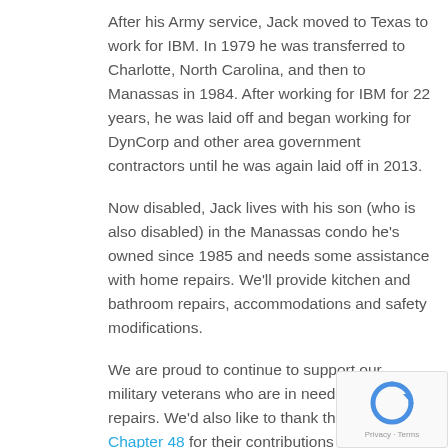After his Army service, Jack moved to Texas to work for IBM. In 1979 he was transferred to Charlotte, North Carolina, and then to Manassas in 1984. After working for IBM for 22 years, he was laid off and began working for DynCorp and other area government contractors until he was again laid off in 2013.
Now disabled, Jack lives with his son (who is also disabled) in the Manassas condo he's owned since 1985 and needs some assistance with home repairs. We'll provide kitchen and bathroom repairs, accommodations and safety modifications.
We are proud to continue to support our military veterans who are in need of home repairs. We'd also like to thank the DAV Chapter 48 for their contributions to our military veteran projects.
Want to Help?
We need sponsors/donors and volunteers for all of our Neighborhood Revitalization Initiative (NRI) projects like